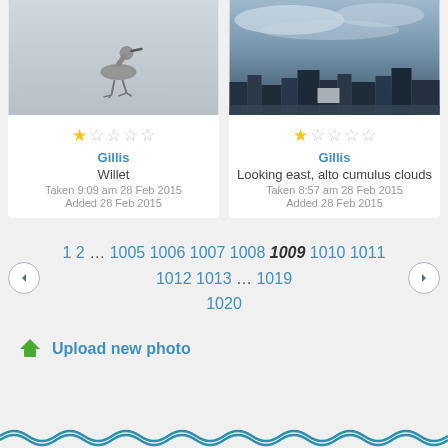[Figure (photo): Photo of a willet bird walking on wet sand/shallow water]
[Figure (photo): Photo of looking east with alto cumulus clouds and city rooftops]
★☆☆☆☆
★☆☆☆☆
Gillis
Gillis
Willet
Looking east, alto cumulus clouds
Taken 9:09 am 28 Feb 2015
Added 28 Feb 2015
Taken 8:57 am 28 Feb 2015
Added 28 Feb 2015
1 2 … 1005 1006 1007 1008 1009 1010 1011 1012 1013 … 1019 1020
Upload new photo